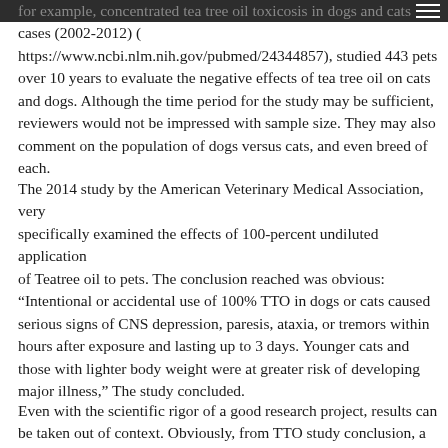for example, concentrated tea tree oil toxicosis in dogs and cats cases (2002-2012) (https://www.ncbi.nlm.nih.gov/pubmed/24344857), studied 443 pets over 10 years to evaluate the negative effects of tea tree oil on cats and dogs. Although the time period for the study may be sufficient, reviewers would not be impressed with sample size. They may also comment on the population of dogs versus cats, and even breed of each.
The 2014 study by the American Veterinary Medical Association, very specifically examined the effects of 100-percent undiluted application of Teatree oil to pets. The conclusion reached was obvious: “Intentional or accidental use of 100% TTO in dogs or cats caused serious signs of CNS depression, paresis, ataxia, or tremors within hours after exposure and lasting up to 3 days. Younger cats and those with lighter body weight were at greater risk of developing major illness,” The study concluded.
Even with the scientific rigor of a good research project, results can be taken out of context. Obviously, from TTO study conclusion, a